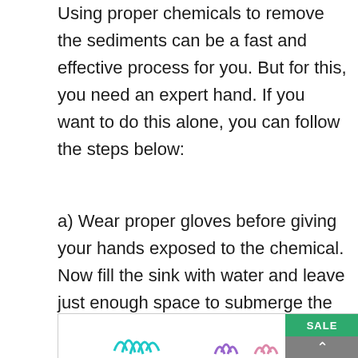Using proper chemicals to remove the sediments can be a fast and effective process for you. But for this, you need an expert hand. If you want to do this alone, you can follow the steps below:
a) Wear proper gloves before giving your hands exposed to the chemical. Now fill the sink with water and leave just enough space to submerge the bottle.
[Figure (illustration): Bottom portion of an advertisement or webpage showing decorative plant/coral illustrations in teal, purple and pink colors, with a green SALE badge and gray scroll-to-top button in the upper right corner.]